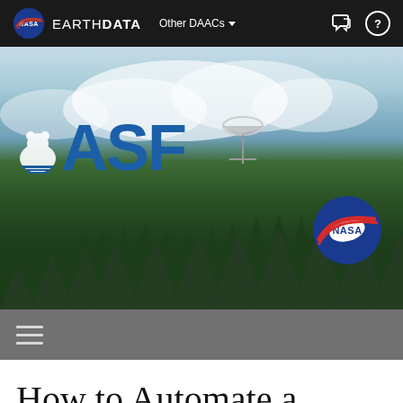EARTH DATA  Other DAACs
[Figure (photo): ASF (Alaska Satellite Facility) hero banner image showing a radar dish above a forest of evergreen trees with a cloudy sky. Large blue ASF logo text on the left, NASA meatball logo on the lower right.]
How to Automate a